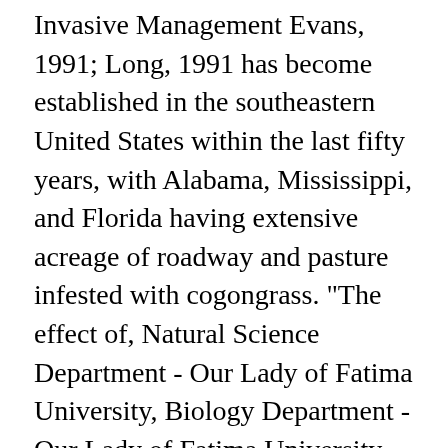Invasive Management Evans, 1991; Long, 1991 has become established in the southeastern United States within the last fifty years, with Alabama, Mississippi, and Florida having extensive acreage of roadway and pasture infested with cogongrass. "The effect of, Natural Science Department - Our Lady of Fatima University, Biology Department - Our Lady of Fatima University, College of Arts and Sciences - Our Lady of Fatima University. Cogongrass is an invasive exotic grass found on public and private property, along roadways, in forests, and on farmland. Ranked the seventh worst weed in the world, it grows on every continent except Antarctica and is particularly destructive to the ecological structure of